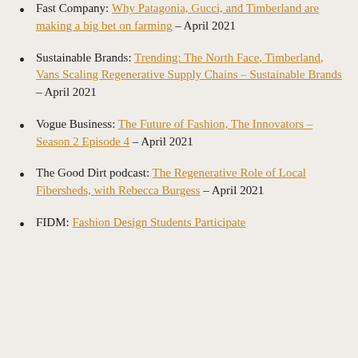Fast Company: Why Patagonia, Gucci, and Timberland are making a big bet on farming – April 2021
Sustainable Brands: Trending: The North Face, Timberland, Vans Scaling Regenerative Supply Chains – Sustainable Brands – April 2021
Vogue Business: The Future of Fashion, The Innovators – Season 2 Episode 4 – April 2021
The Good Dirt podcast: The Regenerative Role of Local Fibersheds, with Rebecca Burgess – April 2021
FIDM: Fashion Design Students Participate